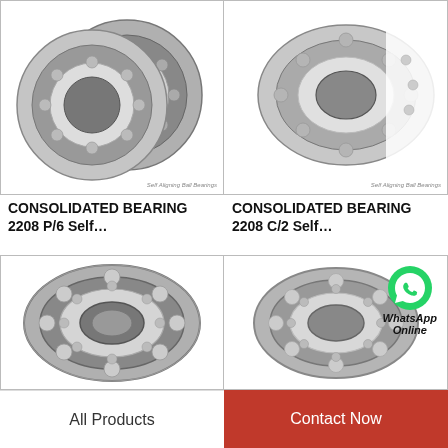[Figure (photo): Self-aligning ball bearing product photo - CONSOLIDATED BEARING 2208 P/6, two bearings shown at angle]
[Figure (photo): Self-aligning ball bearing product photo - CONSOLIDATED BEARING 2208 C/2, close-up angled view]
CONSOLIDATED BEARING 2208 P/6 Self…
CONSOLIDATED BEARING 2208 C/2 Self…
[Figure (photo): Self-aligning ball bearing product photo, front-facing view showing inner and outer rings with ball elements]
[Figure (photo): Self-aligning ball bearing product photo with WhatsApp Online overlay icon]
All Products
Contact Now